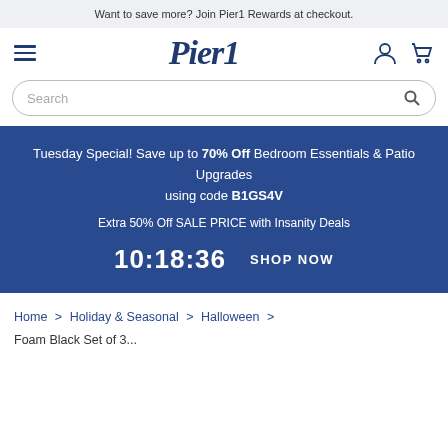Want to save more? Join Pier1 Rewards at checkout.
[Figure (logo): Pier1 logo with hamburger menu icon, user account icon, and shopping cart icon]
[Figure (screenshot): Search input bar with search icon]
Tuesday Special! Save up to 70% Off Bedroom Essentials & Patio Upgrades using code B1GS4V

Extra 50% Off SALE PRICE with Insanity Deals

10:18:36   SHOP NOW
Home > Holiday & Seasonal > Halloween > Foam Black Set of 3...